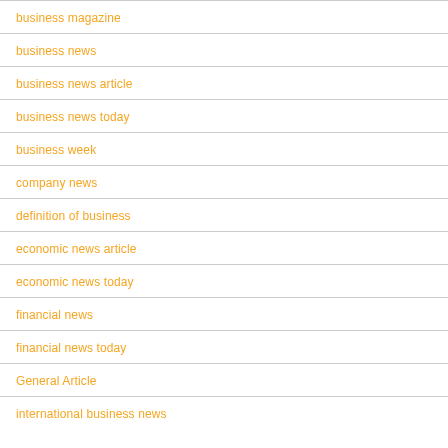business magazine
business news
business news article
business news today
business week
company news
definition of business
economic news article
economic news today
financial news
financial news today
General Article
international business news